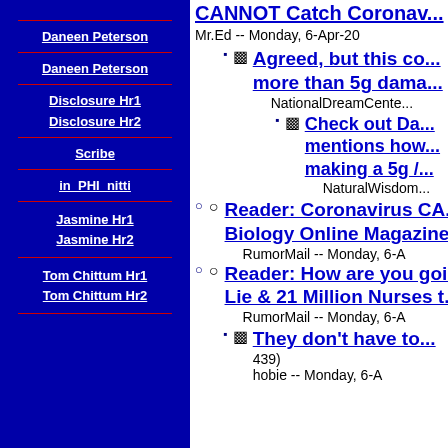Daneen Peterson
Daneen Peterson
Disclosure Hr1
Disclosure Hr2
Scribe
in_PHI_nitti
Jasmine Hr1
Jasmine Hr2
Tom Chittum Hr1
Tom Chittum Hr2
CANNOT Catch Coronav...
Mr.Ed -- Monday, 6-Apr-20
Agreed, but this co... more than 5g dama...
NationalDreamCente...
Check out Da... mentions how... making a 5g /...
NaturalWisdom...
Reader: Coronavirus CA... Biology Online Magazine...
RumorMail -- Monday, 6-A
Reader: How are you goi... Lie & 21 Million Nurses t...
RumorMail -- Monday, 6-A
They don't have to... 439)
hobie -- Monday, 6-A